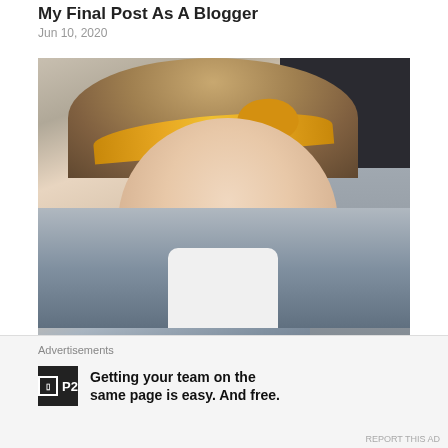My Final Post As A Blogger
Jun 10, 2020
[Figure (photo): A young woman with a yellow headband sitting in a car, looking downward. She is wearing a grey cardigan over a white shirt. The bottom of the image has yellow text overlay reading 'I CAN'T TALK ABOUT IT'.]
The Queen's Missing Her Favorite...
Advertisements
Getting your team on the same page is easy. And free.